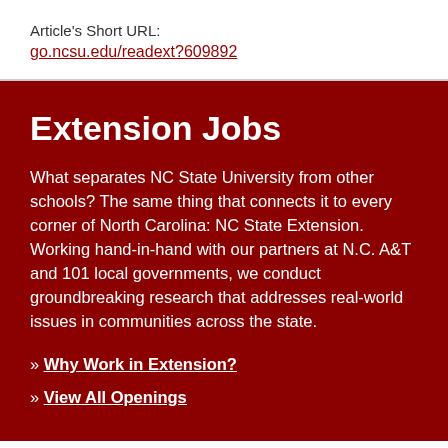Article's Short URL:
go.ncsu.edu/readext?609892
Extension Jobs
What separates NC State University from other schools? The same thing that connects it to every corner of North Carolina: NC State Extension. Working hand-in-hand with our partners at N.C. A&T and 101 local governments, we conduct groundbreaking research that addresses real-world issues in communities across the state.
» Why Work in Extension?
» View All Openings